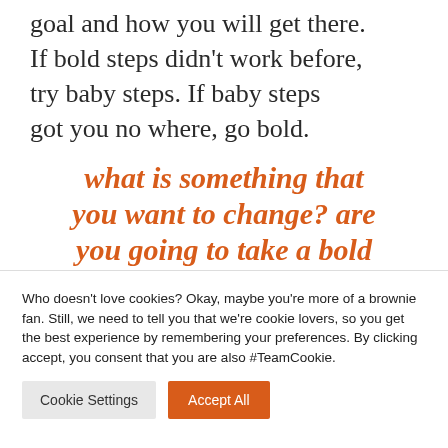goal and how you will get there. If bold steps didn't work before, try baby steps. If baby steps got you no where, go bold.
what is something that you want to change? are you going to take a bold
Who doesn't love cookies? Okay, maybe you're more of a brownie fan. Still, we need to tell you that we're cookie lovers, so you get the best experience by remembering your preferences. By clicking accept, you consent that you are also #TeamCookie.